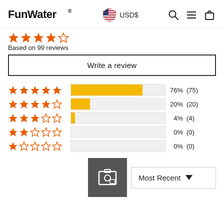FunWater® USD$
Based on 99 reviews
Write a review
[Figure (bar-chart): Rating distribution]